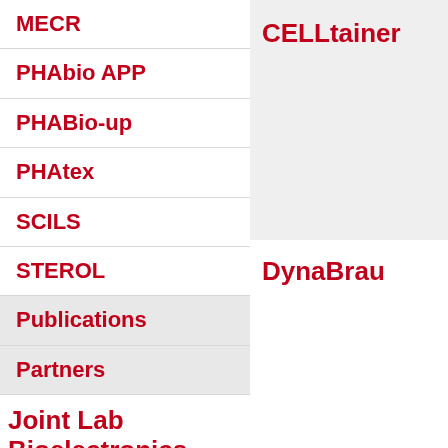MECR
PHAbio APP
PHABio-up
PHAtex
SCILS
STEROL
Publications
Partners
Joint Lab Bioelectronics
Education
CELLtainer
DynaBrau